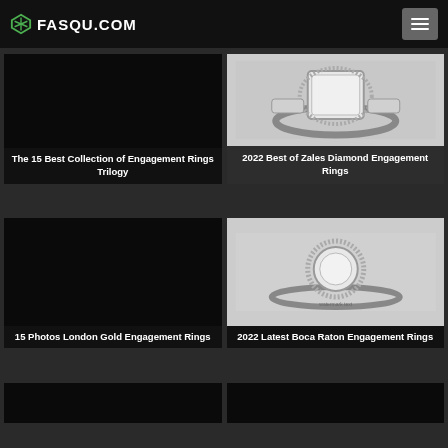FASQU.COM
[Figure (photo): Dark card with no visible image]
The 15 Best Collection of Engagement Rings Trilogy
[Figure (photo): Diamond engagement ring in white gold with halo setting, shown in black and white]
2022 Best of Zales Diamond Engagement Rings
[Figure (photo): Dark card with no visible image]
15 Photos London Gold Engagement Rings
[Figure (photo): Round halo diamond engagement ring shown in black and white]
2022 Latest Boca Raton Engagement Rings
[Figure (photo): Partial dark card at bottom left]
[Figure (photo): Partial dark card at bottom right]